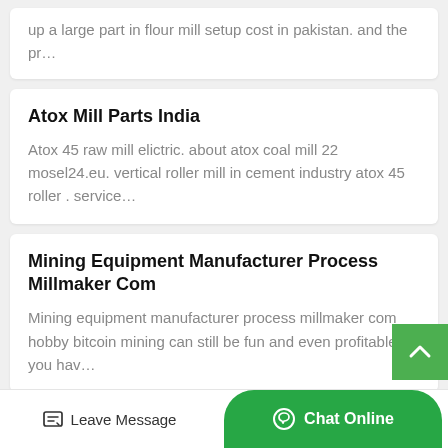up a large part in flour mill setup cost in pakistan. and the pr…
Atox Mill Parts India
Atox 45 raw mill elictric. about atox coal mill 22 mosel24.eu. vertical roller mill in cement industry atox 45 roller . service…
Mining Equipment Manufacturer Process Millmaker Com
Mining equipment manufacturer process millmaker com hobby bitcoin mining can still be fun and even profitable if you hav…
Raw Mill China Henan Zhengzhou Mining Machinery Co Ltd…
Leave Message
Chat Online